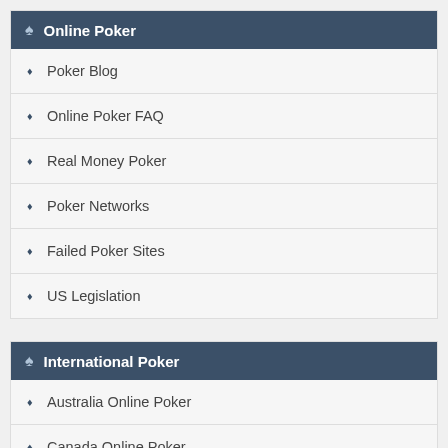Online Poker
Poker Blog
Online Poker FAQ
Real Money Poker
Poker Networks
Failed Poker Sites
US Legislation
International Poker
Australia Online Poker
Canada Online Poker